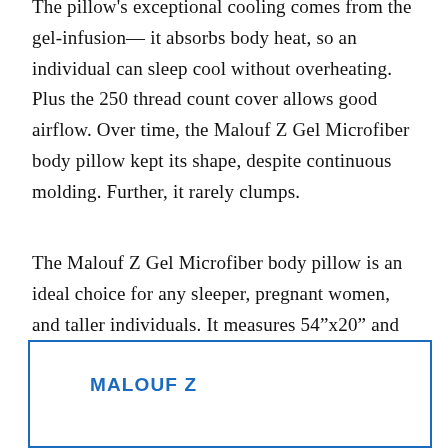The pillow's exceptional cooling comes from the gel-infusion— it absorbs body heat, so an individual can sleep cool without overheating. Plus the 250 thread count cover allows good airflow. Over time, the Malouf Z Gel Microfiber body pillow kept its shape, despite continuous molding. Further, it rarely clumps.
The Malouf Z Gel Microfiber body pillow is an ideal choice for any sleeper, pregnant women, and taller individuals. It measures 54”x20” and weighs 6.5 lbs. Unfortunately, it’s not machine-washable. It requires spot-cleaning with a mild detergent.
MALOUF Z